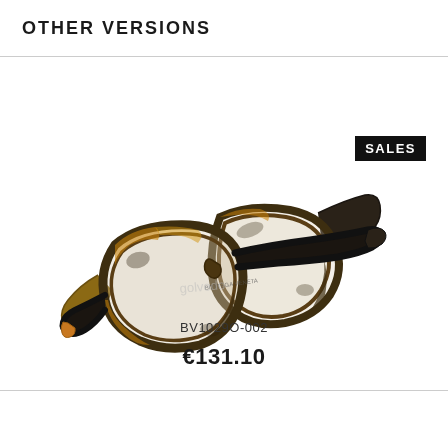OTHER VERSIONS
[Figure (photo): Tortoiseshell rectangular eyeglasses frames (Bottega Veneta BV1029O-002) shown at a three-quarter angle on white background with a watermark. Frames feature brown/amber tortoiseshell pattern on front, dark temples.]
BV1029O-002
€131.10